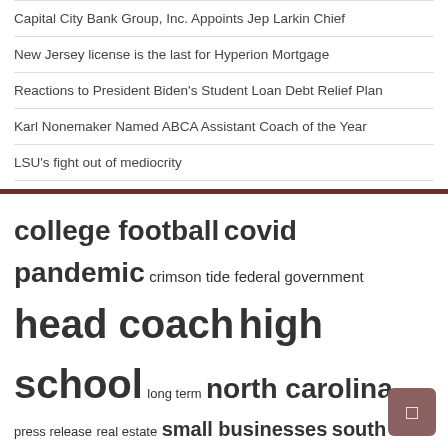Capital City Bank Group, Inc. Appoints Jep Larkin Chief
New Jersey license is the last for Hyperion Mortgage
Reactions to President Biden's Student Loan Debt Relief Plan
Karl Nonemaker Named ABCA Assistant Coach of the Year
LSU's fight out of mediocrity
[Figure (other): Tag cloud with terms: college football, covid pandemic, crimson tide, federal government, head coach, high school, long term, north carolina, press release, real estate, small businesses, south carolina, supply hyperlink, united states, vice president]
Archives
August 2022